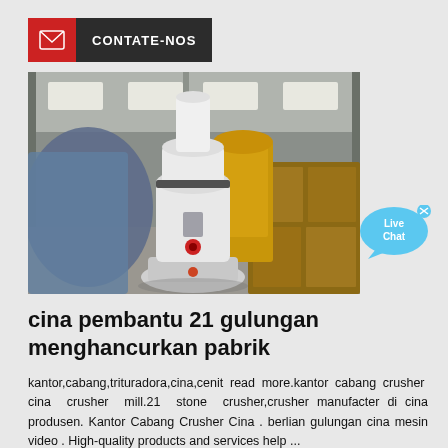[Figure (logo): Contact bar with red envelope icon and dark label reading CONTATE-NOS]
[Figure (photo): Industrial warehouse photo showing a large white vertical roller mill machine (grinding mill) surrounded by yellow machinery and blue tarp-covered equipment]
[Figure (other): Live Chat bubble icon in blue with text 'Live Chat' and a small x close button]
cina pembantu 21 gulungan menghancurkan pabrik
kantor,cabang,trituradora,cina,cenit read more.kantor cabang crusher cina crusher mill.21 stone crusher,crusher manufacter di cina produsen. Kantor Cabang Crusher Cina . berlian gulungan cina mesin video . High-quality products and services help ...